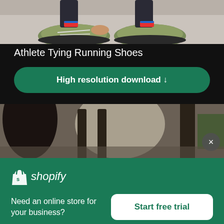[Figure (photo): Athlete tying running shoes, close-up of feet and hands]
Athlete Tying Running Shoes
High resolution download ↓
[Figure (photo): Blurred indoor scene with chairs and a person, partial view]
[Figure (logo): Shopify logo with bag icon and italic shopify text]
Need an online store for your business?
Start free trial